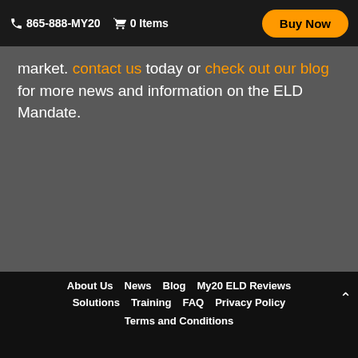865-888-MY20   0 Items   Buy Now
market. contact us today or check out our blog for more news and information on the ELD Mandate.
About Us   News   Blog   My20 ELD Reviews   Solutions   Training   FAQ   Privacy Policy   Terms and Conditions
© 2016-2022 Konexial, Inc. All Rights Reserved.